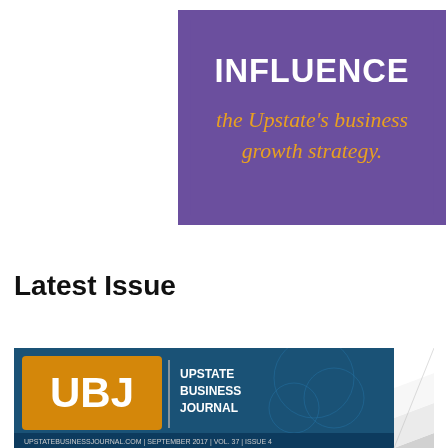[Figure (illustration): Purple rectangular banner with white bold text 'INFLUENCE' and golden italic text 'the Upstate's business growth strategy.' on a purple background.]
Latest Issue
[Figure (photo): Magazine cover of UBJ (Upstate Business Journal) showing the logo with orange and white branding on a teal/dark blue background with a page-curl effect at the bottom right corner. Text reads: UBJ | UPSTATE BUSINESS JOURNAL. Bottom bar reads: UPSTATEBUSINESSJOURNAL.COM | SEPTEMBER 2017 | VOL. 37 | ISSUE 4]